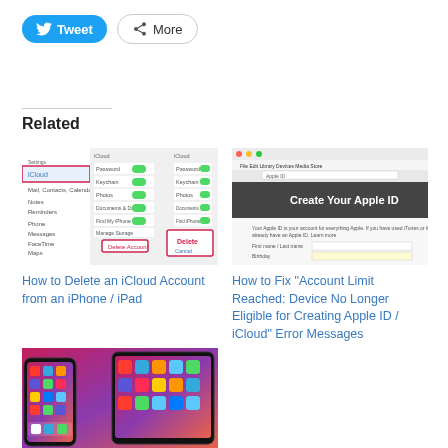[Figure (screenshot): Tweet and More share buttons]
Related
[Figure (screenshot): Screenshot of iPhone iCloud settings with Delete Account option highlighted]
How to Delete an iCloud Account from an iPhone / iPad
[Figure (screenshot): Screenshot of Apple ID creation page with Create Your Apple ID heading]
How to Fix "Account Limit Reached: Device No Longer Eligible for Creating Apple ID / iCloud" Error Messages
[Figure (screenshot): iPhone and iPad showing home screens with app icons on gradient background]